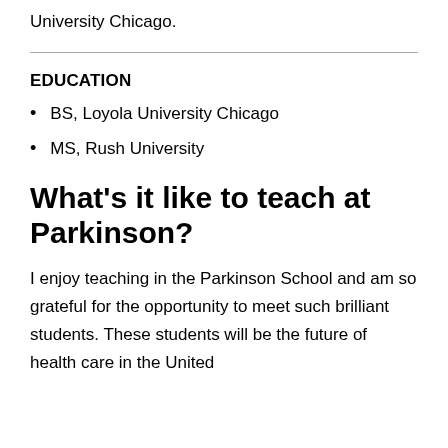University Chicago.
EDUCATION
BS, Loyola University Chicago
MS, Rush University
What's it like to teach at Parkinson?
I enjoy teaching in the Parkinson School and am so grateful for the opportunity to meet such brilliant students. These students will be the future of health care in the United